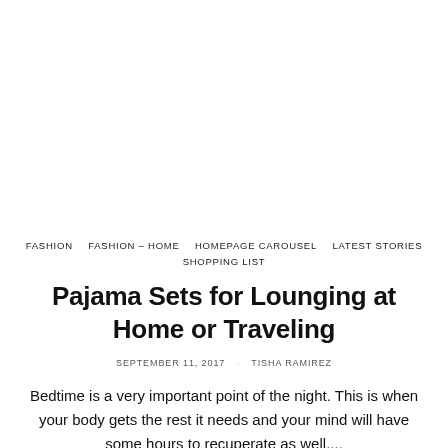FASHION   FASHION – HOME   HOMEPAGE CAROUSEL   LATEST STORIES   SHOPPING LIST
Pajama Sets for Lounging at Home or Traveling
SEPTEMBER 11, 2017   TISHA RAMIREZ
Bedtime is a very important point of the night. This is when your body gets the rest it needs and your mind will have some hours to recuperate as well....